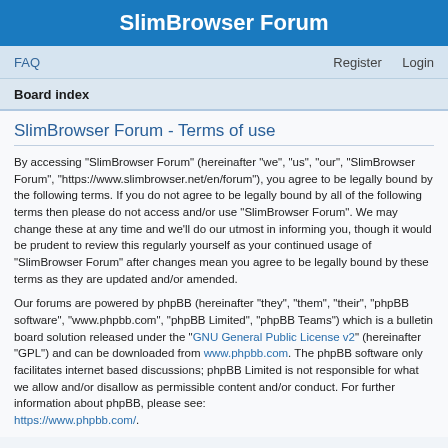SlimBrowser Forum
FAQ    Register    Login
Board index
SlimBrowser Forum - Terms of use
By accessing “SlimBrowser Forum” (hereinafter “we”, “us”, “our”, “SlimBrowser Forum”, “https://www.slimbrowser.net/en/forum”), you agree to be legally bound by the following terms. If you do not agree to be legally bound by all of the following terms then please do not access and/or use “SlimBrowser Forum”. We may change these at any time and we’ll do our utmost in informing you, though it would be prudent to review this regularly yourself as your continued usage of “SlimBrowser Forum” after changes mean you agree to be legally bound by these terms as they are updated and/or amended.
Our forums are powered by phpBB (hereinafter “they”, “them”, “their”, “phpBB software”, “www.phpbb.com”, “phpBB Limited”, “phpBB Teams”) which is a bulletin board solution released under the “GNU General Public License v2” (hereinafter “GPL”) and can be downloaded from www.phpbb.com. The phpBB software only facilitates internet based discussions; phpBB Limited is not responsible for what we allow and/or disallow as permissible content and/or conduct. For further information about phpBB, please see: https://www.phpbb.com/.